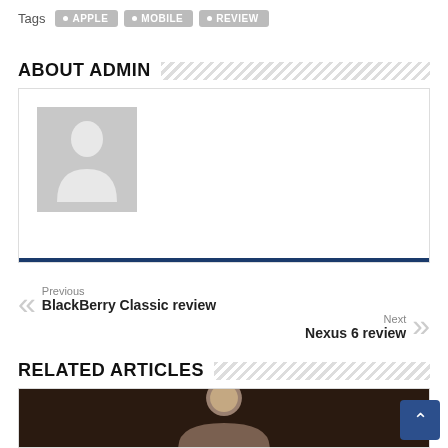Tags  APPLE  MOBILE  REVIEW
ABOUT ADMIN
[Figure (illustration): Default avatar placeholder showing a grey silhouette of a person (head and shoulders) on a light grey background]
Previous
BlackBerry Classic review
Next
Nexus 6 review
RELATED ARTICLES
[Figure (photo): Photo of a bald man in a dark setting, visible from shoulders up, appears to be testifying or speaking at an event]